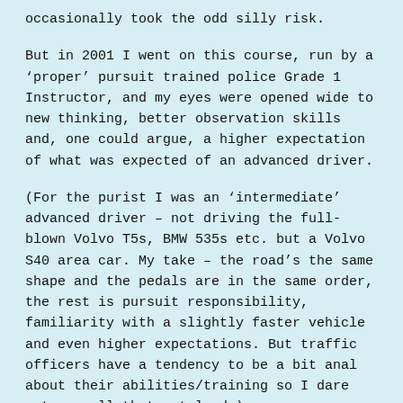occasionally took the odd silly risk.
But in 2001 I went on this course, run by a 'proper' pursuit trained police Grade 1 Instructor, and my eyes were opened wide to new thinking, better observation skills and, one could argue, a higher expectation of what was expected of an advanced driver.
(For the purist I was an 'intermediate' advanced driver – not driving the full-blown Volvo T5s, BMW 535s etc. but a Volvo S40 area car. My take – the road's the same shape and the pedals are in the same order, the rest is pursuit responsibility, familiarity with a slightly faster vehicle and even higher expectations. But traffic officers have a tendency to be a bit anal about their abilities/training so I dare not say all that out loud.)